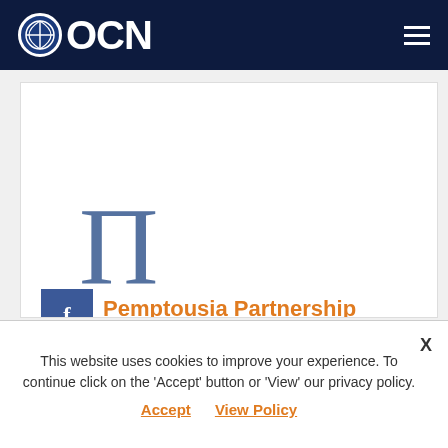OCN
[Figure (logo): Pi (Π) symbol in steel blue color, large decorative letter]
Pemptousia Partnership
Pemptousia and OCN have entered a strategic partnership to bring Orthodoxy Worldwide. Greek philosophers from Ionia considered held that there were four elements or essences (ousies) in nature:
This website uses cookies to improve your experience. To continue click on the 'Accept' button or 'View' our privacy policy.